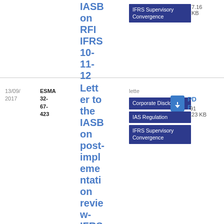| Date | Reference | Title | Tags | Type | Size |
| --- | --- | --- | --- | --- | --- |
|  |  | IASB on RFI IFRS 10-11-12 | IFRS Supervisory Convergence |  | 7.16 KB |
| 13/09/2017 | ESMA 32-67-423 | Letter to the IASB on post-implementation review-IFRS 13 | Corporate Disclosure, IAS Regulation, IFRS Supervisory Convergence | lette | 91.23 KB |